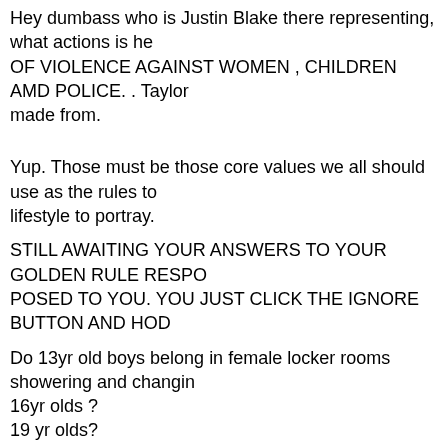Hey dumbass who is Justin Blake there representing, what actions is he taking OF VIOLENCE AGAINST WOMEN , CHILDREN AMD POLICE. . Taylor made from.
Yup. Those must be those core values we all should use as the rules to lifestyle to portray.
STILL AWAITING YOUR ANSWERS TO YOUR GOLDEN RULE RESPO POSED TO YOU. YOU JUST CLICK THE IGNORE BUTTON AND HOD
Do 13yr old boys belong in female locker rooms showering and changin 16yr olds ?
19 yr olds?
Should all college dorms have coed showers and bathrooms now, or us
(xstarrider)   Join Date: Jun 2007   01-23-2021, 1:58 PM
Oh just as predicted.
Michigan and Illinois open days after sleepy is inaugurated.
https://twitter.com/claytravis/statu...007839235?s=10
https://www.google.com/amp/s/www.chi...outputType=amp
Weird Biden's speech said we need mask mandates and the worst is ye